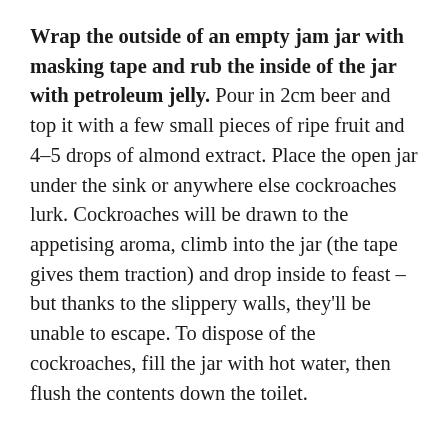Wrap the outside of an empty jam jar with masking tape and rub the inside of the jar with petroleum jelly. Pour in 2cm beer and top it with a few small pieces of ripe fruit and 4–5 drops of almond extract. Place the open jar under the sink or anywhere else cockroaches lurk. Cockroaches will be drawn to the appetising aroma, climb into the jar (the tape gives them traction) and drop inside to feast – but thanks to the slippery walls, they'll be unable to escape. To dispose of the cockroaches, fill the jar with hot water, then flush the contents down the toilet.